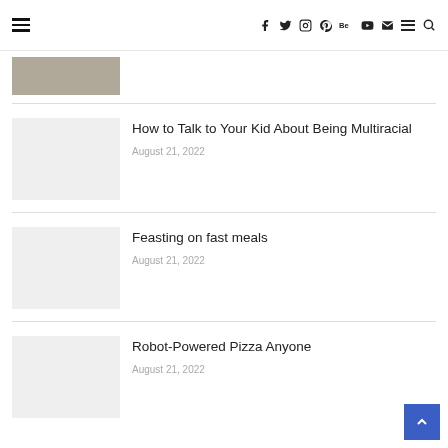Navigation bar with hamburger menu, social icons (Facebook, Twitter, Instagram, Pinterest, Behance, YouTube, Mail, Menu, Search)
[Figure (photo): Partial cropped image at top, brownish tones, partially cut off]
How to Talk to Your Kid About Being Multiracial
August 21, 2022
Feasting on fast meals
August 21, 2022
Robot-Powered Pizza Anyone
August 21, 2022